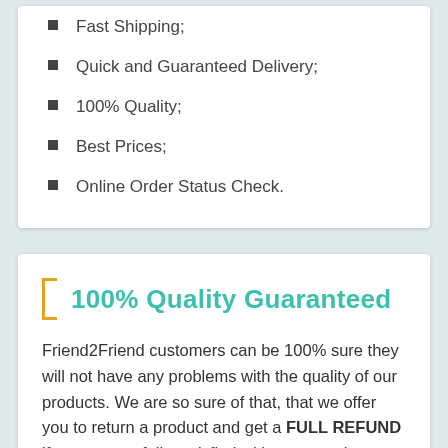Fast Shipping;
Quick and Guaranteed Delivery;
100% Quality;
Best Prices;
Online Order Status Check.
100% Quality Guaranteed
Friend2Friend customers can be 100% sure they will not have any problems with the quality of our products. We are so sure of that, that we offer you to return a product and get a FULL REFUND if you are not fully satisfied with your purchase from Friend2Friend just contact us within 15 days from date of receipt of your order!